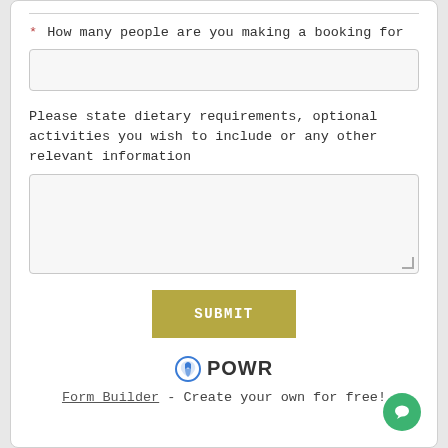* How many people are you making a booking for
[Figure (screenshot): Empty text input field for number of people booking]
Please state dietary requirements, optional activities you wish to include or any other relevant information
[Figure (screenshot): Empty textarea input field for dietary requirements and other info]
SUBMIT
[Figure (logo): POWR logo with blue icon]
Form Builder - Create your own for free!